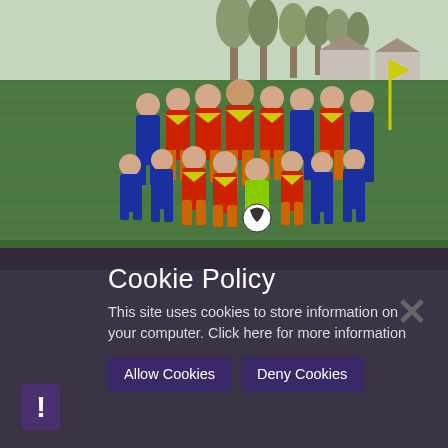[Figure (photo): Youth football team photo on a grass pitch. Boys wearing red/yellow and blue kits, posing in two rows. Trees and houses visible in background.]
Cookie Policy
This site uses cookies to store information on your computer. Click here for more information
Allow Cookies
Deny Cookies